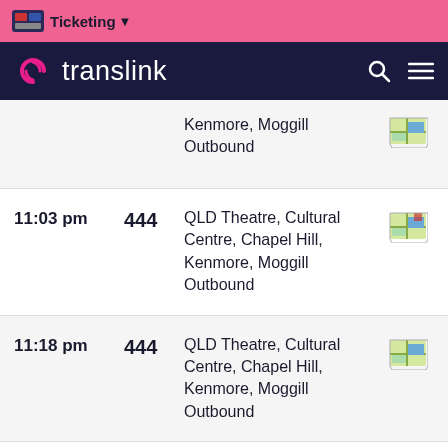Ticketing
translink
| Time | Route | Destination | Map |
| --- | --- | --- | --- |
|  |  | Kenmore, Moggill Outbound |  |
| 11:03 pm | 444 | QLD Theatre, Cultural Centre, Chapel Hill, Kenmore, Moggill Outbound |  |
| 11:18 pm | 444 | QLD Theatre, Cultural Centre, Chapel Hill, Kenmore, Moggill Outbound |  |
| 11:33 pm | 444 | QLD Theatre, Cultural Centre, Chapel Hill, Kenmore, Moggill Outbound |  |